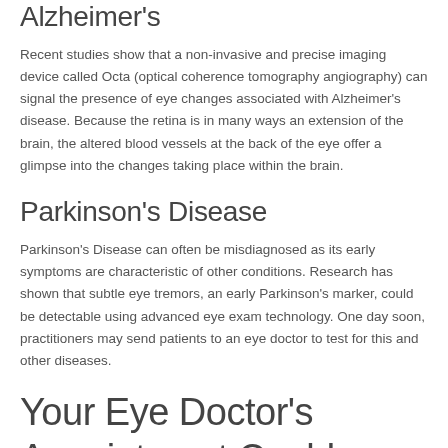Alzheimer's
Recent studies show that a non-invasive and precise imaging device called Octa (optical coherence tomography angiography) can signal the presence of eye changes associated with Alzheimer's disease. Because the retina is in many ways an extension of the brain, the altered blood vessels at the back of the eye offer a glimpse into the changes taking place within the brain.
Parkinson's Disease
Parkinson's Disease can often be misdiagnosed as its early symptoms are characteristic of other conditions. Research has shown that subtle eye tremors, an early Parkinson's marker, could be detectable using advanced eye exam technology. One day soon, practitioners may send patients to an eye doctor to test for this and other diseases.
Your Eye Doctor's Appointment Could Change Your Life